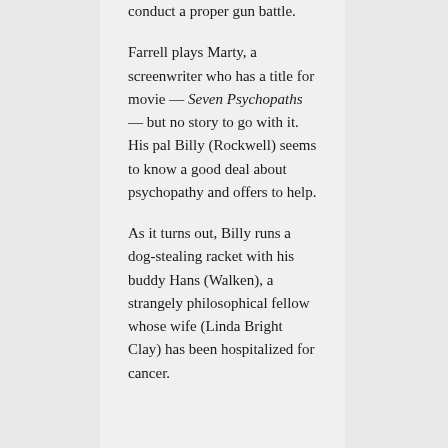conduct a proper gun battle.
Farrell plays Marty, a screenwriter who has a title for movie — Seven Psychopaths — but no story to go with it. His pal Billy (Rockwell) seems to know a good deal about psychopathy and offers to help.
As it turns out, Billy runs a dog-stealing racket with his buddy Hans (Walken), a strangely philosophical fellow whose wife (Linda Bright Clay) has been hospitalized for cancer.